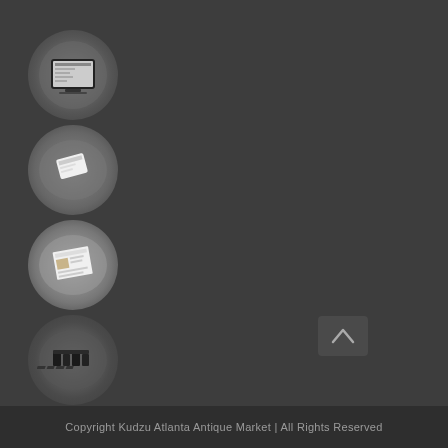[Figure (photo): Vertical column of six oval thumbnail images on dark gray background. From top to bottom: 1) tablet device showing a website, 2) white phone or card mockup, 3) printed brochure or document mockup, 4) dark 3D lettering or signage object, 5) scattered business cards or print materials, 6) keychain tag with Avada logo label.]
[Figure (other): Back/up arrow button in dark gray rounded rectangle in bottom right area.]
Copyright Kudzu Atlanta Antique Market | All Rights Reserved